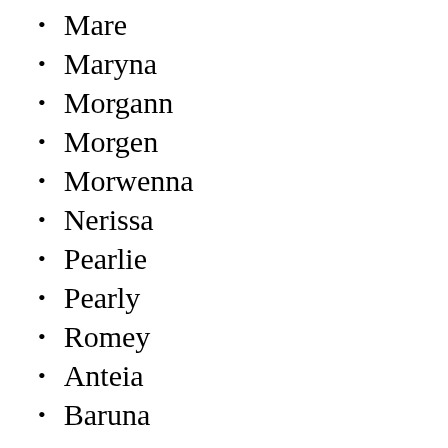Mare
Maryna
Morgann
Morgen
Morwenna
Nerissa
Pearlie
Pearly
Romey
Anteia
Baruna